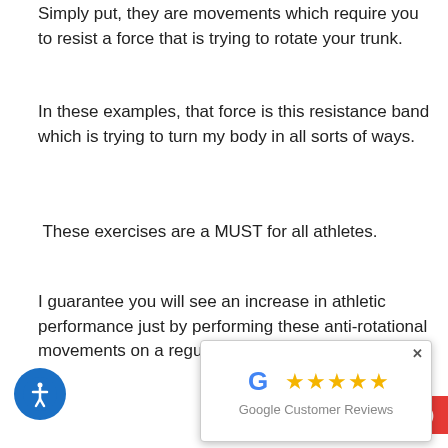Simply put, they are movements which require you to resist a force that is trying to rotate your trunk.
In these examples, that force is this resistance band which is trying to turn my body in all sorts of ways.
These exercises are a MUST for all athletes.
I guarantee you will see an increase in athletic performance just by performing these anti-rotational movements on a regular basis.
Explosiveness, agility, balance, coordination, rotational power - this is how you improve those extremely important athletic attributes *🏆
[Figure (other): Google Customer Reviews popup with 5 gold stars and Google logo]
re looking to impr...no further.